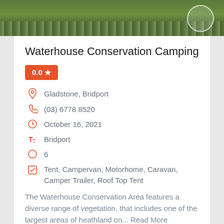[Figure (photo): Outdoor nature photo strip showing green grass/heathland vegetation with a circular button/icon in the top right corner]
Waterhouse Conservation Camping
0.0 ★
Gladstone, Bridport
(03) 6778 8520
October 16, 2021
Bridport
6
Tent, Campervan, Motorhome, Caravan, Camper Trailer, Roof Top Tent
The Waterhouse Conservation Area features a diverse range of vegetation, that includes one of the largest areas of heathland on... Read More